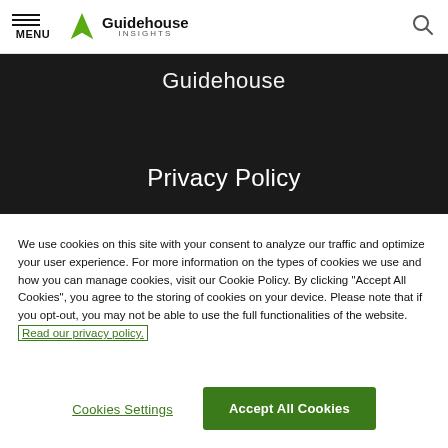MENU | Guidehouse Insights
Guidehouse
Privacy Policy
We use cookies on this site with your consent to analyze our traffic and optimize your user experience. For more information on the types of cookies we use and how you can manage cookies, visit our Cookie Policy. By clicking “Accept All Cookies”, you agree to the storing of cookies on your device. Please note that if you opt-out, you may not be able to use the full functionalities of the website. Read our privacy policy.
Cookies Settings
Accept All Cookies